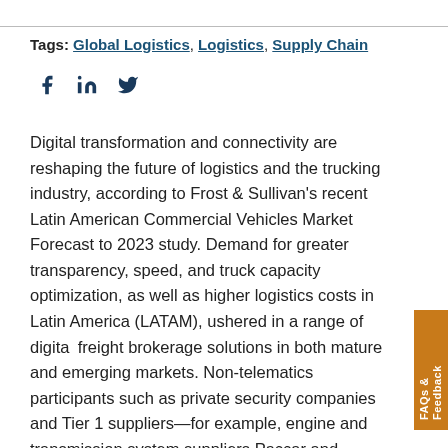Tags: Global Logistics, Logistics, Supply Chain
[Figure (other): Social media icons: Facebook, LinkedIn, Twitter]
Digital transformation and connectivity are reshaping the future of logistics and the trucking industry, according to Frost & Sullivan's recent Latin American Commercial Vehicles Market Forecast to 2023 study. Demand for greater transparency, speed, and truck capacity optimization, as well as higher logistics costs in Latin America (LATAM), ushered in a range of digital freight brokerage solutions in both mature and emerging markets. Non-telematics participants such as private security companies and Tier 1 suppliers—for example, engine and transmission system suppliers Paccar and Cummins—are venturing into the commercial vehicle telematics market and will